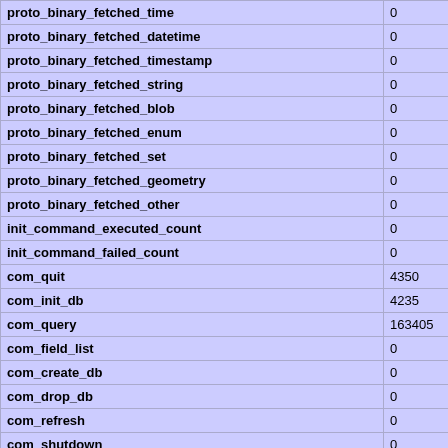| Variable | Value |
| --- | --- |
| proto_binary_fetched_time | 0 |
| proto_binary_fetched_datetime | 0 |
| proto_binary_fetched_timestamp | 0 |
| proto_binary_fetched_string | 0 |
| proto_binary_fetched_blob | 0 |
| proto_binary_fetched_enum | 0 |
| proto_binary_fetched_set | 0 |
| proto_binary_fetched_geometry | 0 |
| proto_binary_fetched_other | 0 |
| init_command_executed_count | 0 |
| init_command_failed_count | 0 |
| com_quit | 4350 |
| com_init_db | 4235 |
| com_query | 163405 |
| com_field_list | 0 |
| com_create_db | 0 |
| com_drop_db | 0 |
| com_refresh | 0 |
| com_shutdown | 0 |
| com_statistics | 0 |
| com_process_info | 0 |
| com_connect | 0 |